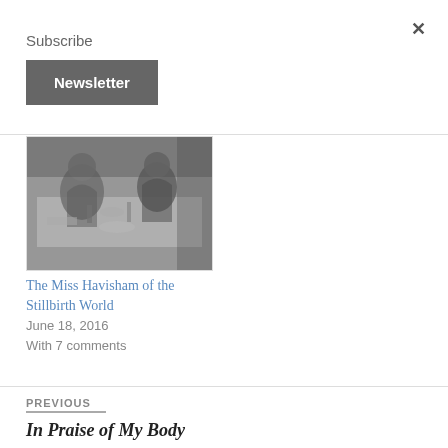×
Subscribe
Newsletter
[Figure (photo): Black and white photograph showing people at what appears to be a dining or social event, with figures and tableware visible]
The Miss Havisham of the Stillbirth World
June 18, 2016
With 7 comments
PREVIOUS
In Praise of My Body